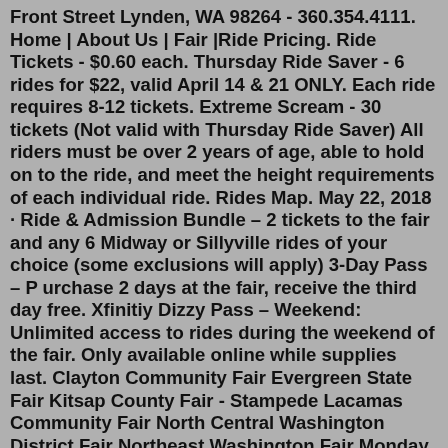Front Street Lynden, WA 98264 - 360.354.4111. Home | About Us | Fair |Ride Pricing. Ride Tickets - $0.60 each. Thursday Ride Saver - 6 rides for $22, valid April 14 & 21 ONLY. Each ride requires 8-12 tickets. Extreme Scream - 30 tickets (Not valid with Thursday Ride Saver) All riders must be over 2 years of age, able to hold on to the ride, and meet the height requirements of each individual ride. Rides Map. May 22, 2018 · Ride & Admission Bundle – 2 tickets to the fair and any 6 Midway or Sillyville rides of your choice (some exclusions will apply) 3-Day Pass – P urchase 2 days at the fair, receive the third day free. Xfinitiy Dizzy Pass – Weekend: Unlimited access to rides during the weekend of the fair. Only available online while supplies last. Clayton Community Fair Evergreen State Fair Kitsap County Fair - Stampede Lacamas Community Fair North Central Washington District Fair Northeast Washington Fair Monday, Aug. 29 Evergreen State Fair Tuesday, Aug. 30 Evergreen State Fair Wednesday, Aug. 31 Evergreen State Fair Walla Walla Fair & Frontier Days